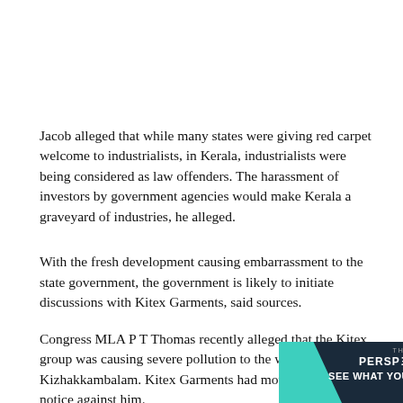Jacob alleged that while many states were giving red carpet welcome to industrialists, in Kerala, industrialists were being considered as law offenders. The harassment of investors by government agencies would make Kerala a graveyard of industries, he alleged.
With the fresh development causing embarrassment to the state government, the government is likely to initiate discussions with Kitex Garments, said sources.
Congress MLA P T Thomas recently alleged that the Kitex group was causing severe pollution to the water bodies at Kizhakkambalam. Kitex Garments had moved a defamation notice against him.
[Figure (other): Advertisement banner for 'The Perspective' publication with teal accent, dark background, and yellow 'READ MORE' button. Text reads 'THE PERSPECTIVE SEE WHAT YOU'RE MISSING'.]